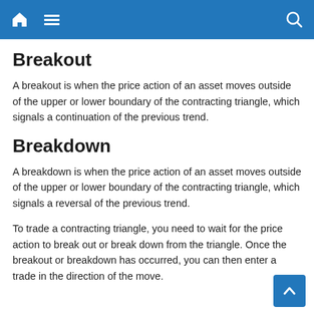Home Menu Search
Breakout
A breakout is when the price action of an asset moves outside of the upper or lower boundary of the contracting triangle, which signals a continuation of the previous trend.
Breakdown
A breakdown is when the price action of an asset moves outside of the upper or lower boundary of the contracting triangle, which signals a reversal of the previous trend.
To trade a contracting triangle, you need to wait for the price action to break out or break down from the triangle. Once the breakout or breakdown has occurred, you can then enter a trade in the direction of the move.